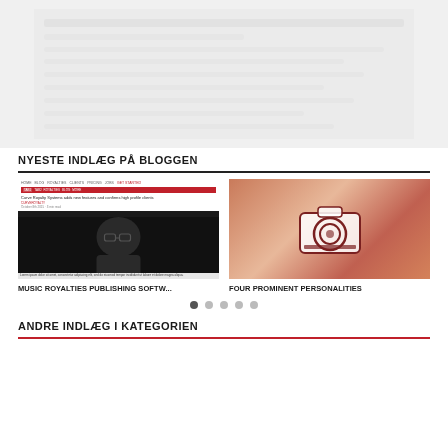[Figure (screenshot): Blurred/faded screenshot of a webpage at the top of the page]
NYESTE INDLÆG PÅ BLOGGEN
[Figure (screenshot): Screenshot of an article page about Curve Royalty Systems with a photo of a man with glasses]
[Figure (photo): Blurred photo with a camera icon overlay in brownish-red tones]
MUSIC ROYALTIES PUBLISHING SOFTW...
FOUR PROMINENT PERSONALITIES
ANDRE INDLÆG I KATEGORIEN